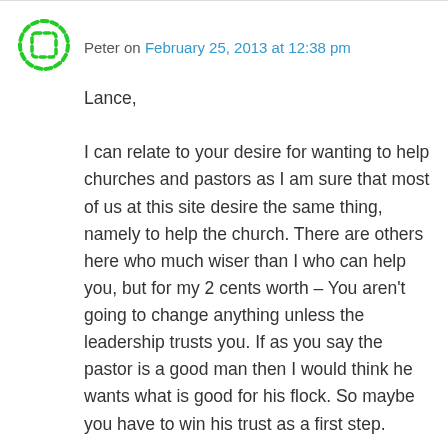[Figure (illustration): Green circular avatar icon with dotted/dashed border pattern, representing user 'Peter']
Peter on February 25, 2013 at 12:38 pm
Lance,

I can relate to your desire for wanting to help churches and pastors as I am sure that most of us at this site desire the same thing, namely to help the church. There are others here who much wiser than I who can help you, but for my 2 cents worth – You aren't going to change anything unless the leadership trusts you. If as you say the pastor is a good man then I would think he wants what is good for his flock. So maybe you have to win his trust as a first step.
★ Like